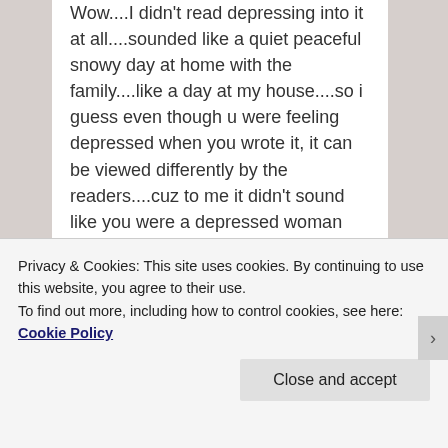Wow....I didn't read depressing into it at all....sounded like a quiet peaceful snowy day at home with the family....like a day at my house....so i guess even though u were feeling depressed when you wrote it, it can be viewed differently by the readers....cuz to me it didn't sound like you were a depressed woman complaining or moaning about life...sounded like a woman content with her life....I havn't blogged myself in ages...cuz I dunno how my writing will come across, cuz I've been so sleep
Privacy & Cookies: This site uses cookies. By continuing to use this website, you agree to their use.
To find out more, including how to control cookies, see here: Cookie Policy
Close and accept